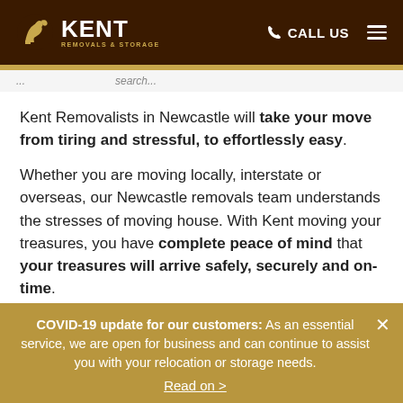KENT REMOVALS & STORAGE | CALL US
Kent Removalists in Newcastle will take your move from tiring and stressful, to effortlessly easy.
Whether you are moving locally, interstate or overseas, our Newcastle removals team understands the stresses of moving house. With Kent moving your treasures, you have complete peace of mind that your treasures will arrive safely, securely and on-time.
Having successfully moved over a million people during the
COVID-19 update for our customers: As an essential service, we are open for business and can continue to assist you with your relocation or storage needs. Read on >